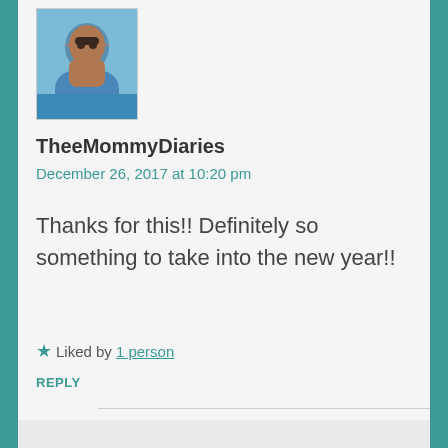[Figure (photo): Avatar photo of TheeMommyDiaries, a person in a blue jacket]
TheeMommyDiaries
December 26, 2017 at 10:20 pm
Thanks for this!! Definitely so something to take into the new year!!
★ Liked by 1 person
REPLY
[Figure (photo): Avatar photo of Nathan Wood Consulting, a man with glasses]
Nathan Wood Consulting
December 27, 2017 at 8:21 am